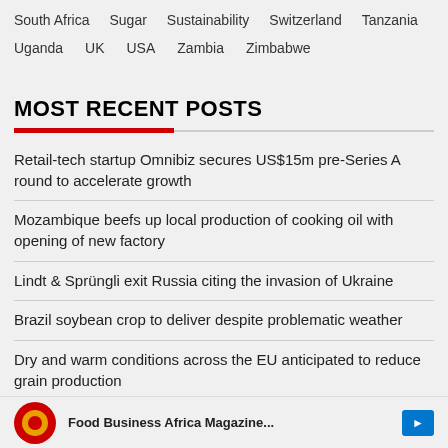South Africa
Sugar
Sustainability
Switzerland
Tanzania
Uganda
UK
USA
Zambia
Zimbabwe
MOST RECENT POSTS
Retail-tech startup Omnibiz secures US$15m pre-Series A round to accelerate growth
Mozambique beefs up local production of cooking oil with opening of new factory
Lindt & Sprüngli exit Russia citing the invasion of Ukraine
Brazil soybean crop to deliver despite problematic weather
Dry and warm conditions across the EU anticipated to reduce grain production
[Figure (other): Partial preview of a post with logo and button at bottom of page]